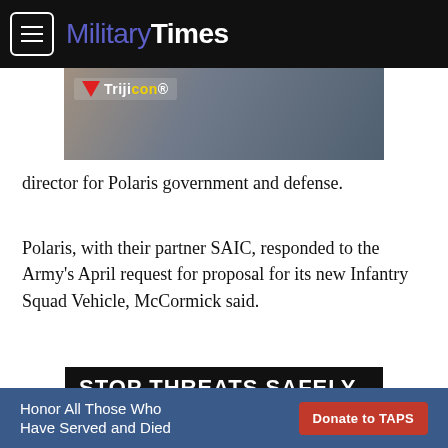MilitaryTimes
[Figure (photo): Trijicon advertisement banner showing military equipment/weapon in camouflage setting with Trijicon logo]
director for Polaris government and defense.
Polaris, with their partner SAIC, responded to the Army's April request for proposal for its new Infantry Squad Vehicle, McCormick said.
[Figure (photo): Advertisement banner reading STOP THREATS SAFELY with yellow stripe and military imagery below]
[Figure (infographic): Bottom banner: Honor All Those Who Have Served and Died — Donate to TAPS button]